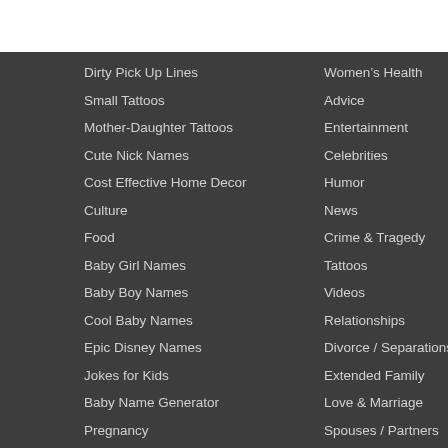Dirty Pick Up Lines
Small Tattoos
Mother-Daughter Tattoos
Cute Nick Names
Cost Effective Home Decor
Culture
Food
Baby Girl Names
Baby Boy Names
Cool Baby Names
Epic Disney Names
Jokes for Kids
Baby Name Generator
Pregnancy
Inspiration
Mental Health
Women’s Health
Advice
Entertainment
Celebrities
Humor
News
Crime & Tragedy
Tattoos
Videos
Relationships
Divorce / Separations
Extended Family
Love & Marriage
Spouses / Partners
Archive & Tag Cloud
Subscribe